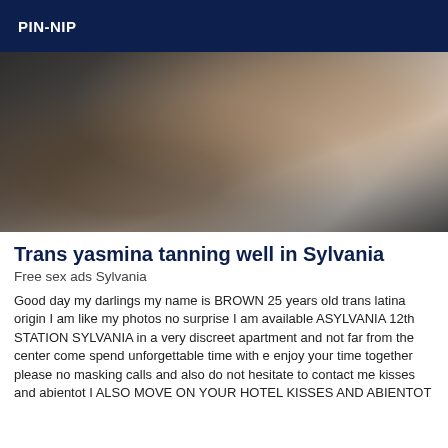PIN-NIP
[Figure (photo): A person photographed in low light, wearing fishnet stockings, taking a selfie-style photo at an angle.]
Trans yasmina tanning well in Sylvania
Free sex ads Sylvania
Good day my darlings my name is BROWN 25 years old trans latina origin I am like my photos no surprise I am available ASYLVANIA 12th STATION SYLVANIA in a very discreet apartment and not far from the center come spend unforgettable time with e enjoy your time together please no masking calls and also do not hesitate to contact me kisses and abientot I ALSO MOVE ON YOUR HOTEL KISSES AND ABIENTOT